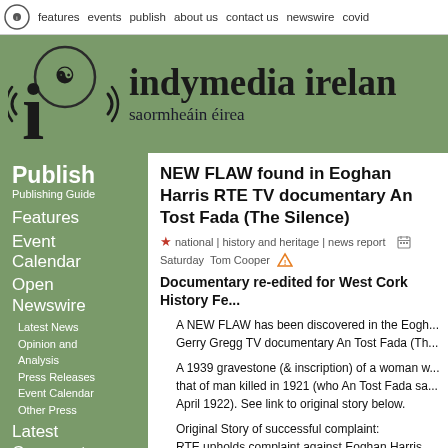features | events | publish | about us | contact us | newswire | covid
[Figure (logo): Indymedia Ireland logo with triskelion and radio waves, text: indymedia ireland, saormheáin éirea]
NEW FLAW found in Eoghan Harris RTE TV documentary An Tost Fada (The Silence)
★ national | history and heritage | news report  Saturday  Tom Cooper ⚠
Documentary re-edited for West Cork History Fe...
A NEW FLAW has been discovered in the Eogh... Gerry Gregg TV documentary An Tost Fada (Th...
A 1939 gravestone (& inscription) of a woman w... that of man killed in 1921 (who An Tost Fada sa... April 1922). See link to original story below.
Original Story of successful complaint:
RTE upholds complaint against Eoghan Harris p...
War of independence